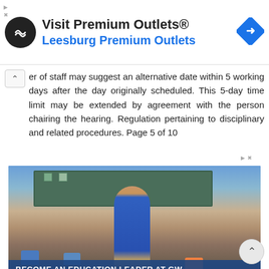[Figure (screenshot): Top advertisement banner for Visit Premium Outlets - Leesburg Premium Outlets, with circular logo icon and blue diamond navigation icon]
er of staff may suggest an alternative date within 5 working days after the day originally scheduled. This 5-day time limit may be extended by agreement with the person chairing the hearing. Regulation pertaining to disciplinary and related procedures. Page 5 of 10
[Figure (photo): Advertisement for GW (George Washington University) education program showing a smiling female teacher in a blue shirt standing in front of a classroom with students. Text overlaid: BECOME AN EDUCATION LEADER AT GW. Below: Get a $6K Grant, APPLY NOW, GW logo]